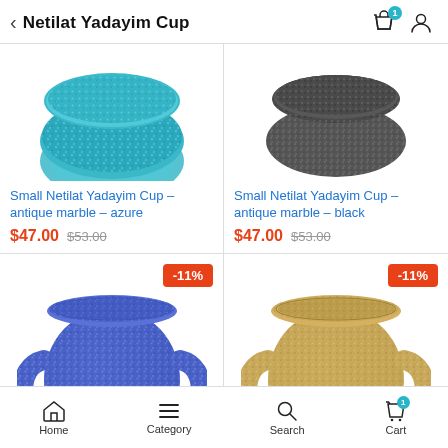Netilat Yadayim Cup
[Figure (photo): Small Netilat Yadayim Cup - antique marble - azure (top portion of teal/azure speckled cup visible)]
Small Netilat Yadayim Cup – antique marble – azure
$47.00 $53.00
[Figure (photo): Small Netilat Yadayim Cup - antique marble - black (top portion of black speckled cup visible)]
Small Netilat Yadayim Cup – antique marble – black
$47.00 $53.00
[Figure (photo): Small Netilat Yadayim Cup - blue speckled marble, two-handled washing cup, -11% discount badge]
[Figure (photo): Small Netilat Yadayim Cup - tan/sand speckled marble, two-handled washing cup, -11% discount badge]
Home  Category  Search  Cart